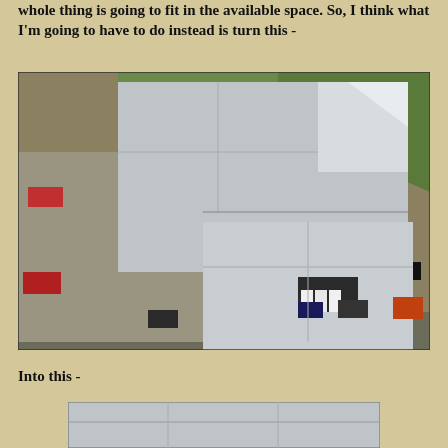whole thing is going to fit in the available space. So, I think what I'm going to have to do instead is turn this -
[Figure (photo): Aerial/satellite view of a large industrial or agricultural building complex with metal roofs, parking area with vehicles, surrounded by fields and dirt roads.]
Into this -
[Figure (photo): Partial view of bottom portion of building diagram or photo, showing a structure with light-colored roof.]